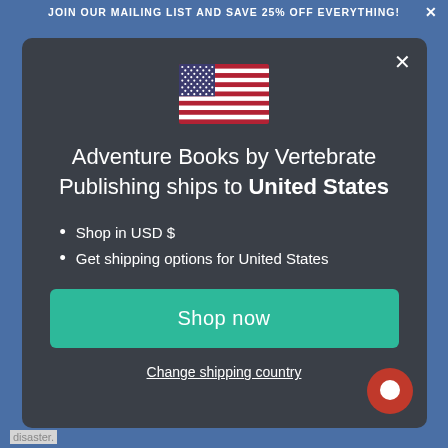JOIN OUR MAILING LIST AND SAVE 25% OFF EVERYTHING!
[Figure (illustration): US flag emoji/icon showing stars and stripes]
Adventure Books by Vertebrate Publishing ships to United States
Shop in USD $
Get shipping options for United States
Shop now
Change shipping country
disaster.